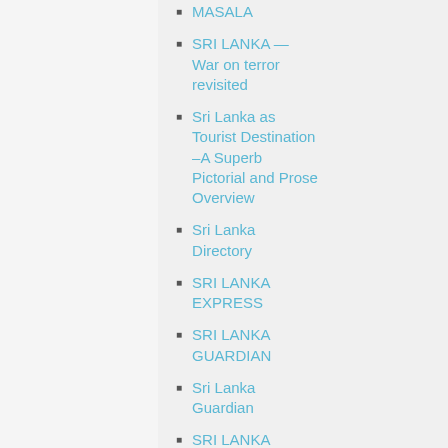MASALA
SRI LANKA — War on terror revisited
Sri Lanka as Tourist Destination –A Superb Pictorial and Prose Overview
Sri Lanka Directory
SRI LANKA EXPRESS
SRI LANKA GUARDIAN
Sri Lanka Guardian
SRI LANKA UNITES
SRI LANKA: War on Terror revisited
Sri Lankan Cricket